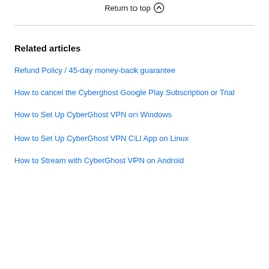Return to top ↑
Related articles
Refund Policy / 45-day money-back guarantee
How to cancel the Cyberghost Google Play Subscription or Trial
How to Set Up CyberGhost VPN on Windows
How to Set Up CyberGhost VPN CLI App on Linux
How to Stream with CyberGhost VPN on Android